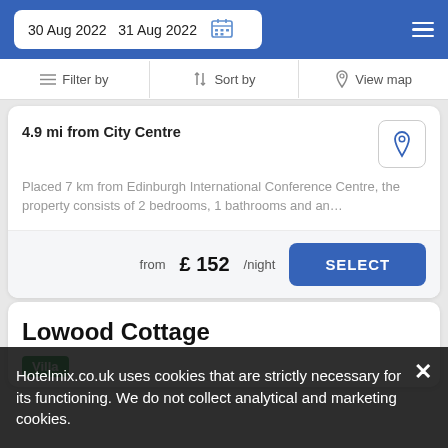30 Aug 2022  31 Aug 2022
Filter by  |  Sort by  |  View map
4.9 mi from City Centre
Placed 7 km from Edinburgh International Conference Centre, the property consists of 2 bedrooms, 1 bathrooms and an…
from £ 152/night  SELECT
Lowood Cottage
Villa
Hotelmix.co.uk uses cookies that are strictly necessary for its functioning. We do not collect analytical and marketing cookies.